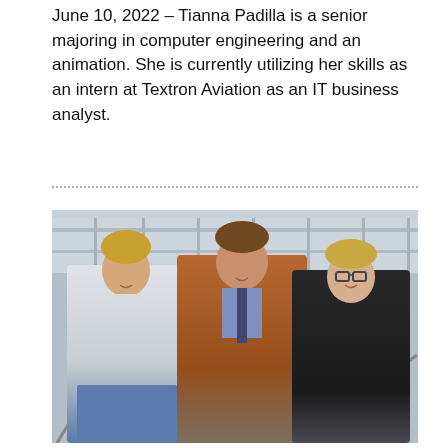June 10, 2022 – Tianna Padilla is a senior majoring in computer engineering and an animation. She is currently utilizing her skills as an intern at Textron Aviation as an IT business analyst.
[Figure (photo): Three young adults standing together indoors in what appears to be an atrium or stairwell with large windows. Left: tall young man in a light blue button-down shirt and jeans. Center: young man in a brown jacket and plaid shirt with a striped tie. Right: young woman with glasses wearing a black polo shirt.]